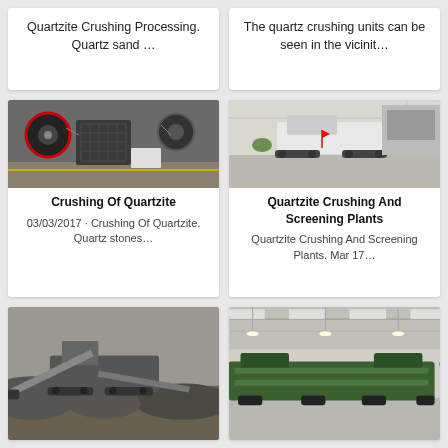Quartzite Crushing Processing. Quartz sand …
The quartz crushing units can be seen in the vicinit…
[Figure (photo): Industrial jaw crusher machine in a factory setting with large wheels and metal plates]
[Figure (photo): Mobile crushing unit on tracks inside a warehouse]
Crushing Of Quartzite
03/03/2017 · Crushing Of Quartzite. Quartz stones…
Quartzite Crushing And Screening Plants
Quartzite Crushing And Screening Plants. Mar 17…
[Figure (photo): Outdoor mobile crushing plant with conveyor belts and piles of crushed stone]
[Figure (photo): Green industrial screening machine inside a large warehouse]